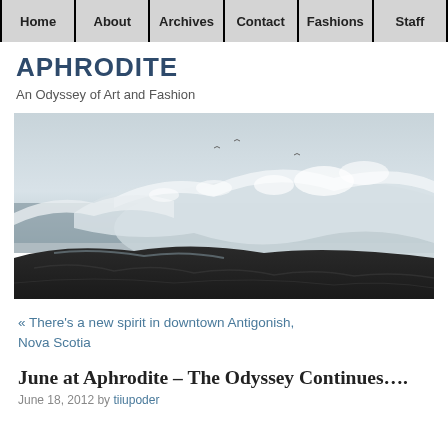Home | About | Archives | Contact | Fashions | Staff
APHRODITE
An Odyssey of Art and Fashion
[Figure (photo): Ocean waves crashing on rocky coastline with dramatic spray and overcast sky]
« There's a new spirit in downtown Antigonish, Nova Scotia
June at Aphrodite – The Odyssey Continues….
June 18, 2012 by tiiupoder